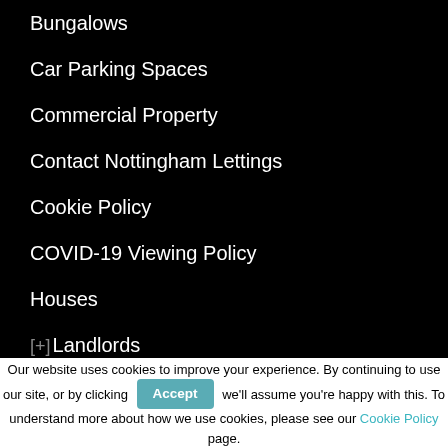Bungalows
Car Parking Spaces
Commercial Property
Contact Nottingham Lettings
Cookie Policy
COVID-19 Viewing Policy
Houses
[+]Landlords
[+]Nottingham Areas
Nottingham Letting Agents
Offices
Privacy Policy
Rooms
Our website uses cookies to improve your experience. By continuing to use our site, or by clicking Accept we'll assume you're happy with this. To understand more about how we use cookies, please see our Cookie Policy page.